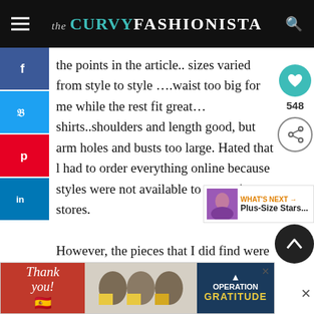the CURVY FASHIONISTA
the points in the article.. sizes varied from style to style ….waist too big for me while the rest fit great…shirts..shoulders and length good, but arm holes and busts too large. Hated that l had to order everything online because styles were not available to try on in stores.

However, the pieces that I did find were great. Nice quality you don't find any­ in plus. Beautiful basics that work from day to night and work to play. Price point was
[Figure (screenshot): Social media share sidebar with Facebook, Twitter, Pinterest, LinkedIn buttons on the left; heart/like icon with count 548 and share icon on the right]
[Figure (infographic): What's Next widget showing a thumbnail and text 'Plus-Size Stars...']
[Figure (photo): Advertisement banner at bottom: 'Thank you' Operation Gratitude ad with people holding boxes]